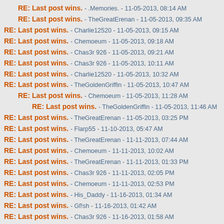RE: Last post wins. - .Memories. - 11-05-2013, 08:14 AM
RE: Last post wins. - TheGreatErenan - 11-05-2013, 09:35 AM
RE: Last post wins. - Charlie12520 - 11-05-2013, 09:15 AM
RE: Last post wins. - Chemoeum - 11-05-2013, 09:18 AM
RE: Last post wins. - Chas3r 926 - 11-05-2013, 09:21 AM
RE: Last post wins. - Chas3r 926 - 11-05-2013, 10:11 AM
RE: Last post wins. - Charlie12520 - 11-05-2013, 10:32 AM
RE: Last post wins. - TheGoldenGriffin - 11-05-2013, 10:47 AM
RE: Last post wins. - Chemoeum - 11-05-2013, 11:28 AM
RE: Last post wins. - TheGoldenGriffin - 11-05-2013, 11:46 AM
RE: Last post wins. - TheGreatErenan - 11-05-2013, 03:25 PM
RE: Last post wins. - Flarp55 - 11-10-2013, 05:47 AM
RE: Last post wins. - TheGreatErenan - 11-11-2013, 07:44 AM
RE: Last post wins. - Chemoeum - 11-11-2013, 10:02 AM
RE: Last post wins. - TheGreatErenan - 11-11-2013, 01:33 PM
RE: Last post wins. - Chas3r 926 - 11-11-2013, 02:05 PM
RE: Last post wins. - Chemoeum - 11-11-2013, 02:53 PM
RE: Last post wins. - His_Daddy - 11-16-2013, 01:34 AM
RE: Last post wins. - Gf!sh - 11-16-2013, 01:42 AM
RE: Last post wins. - Chas3r 926 - 11-16-2013, 01:58 AM
RE: Last post wins. - Chemoeum - 11-16-2013, 05:51 AM